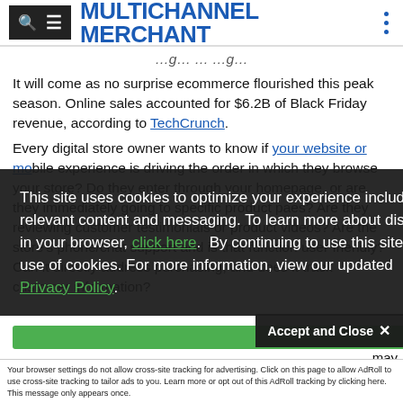MULTICHANNEL MERCHANT
It will come as no surprise ecommerce flourished this peak season. Online sales accounted for $6.2B of Black Friday revenue, according to TechCrunch.
Every digital store owner wants to know if your website or mobile experience is driving the order in which they browse your store? Do they enter through your homepage, or are they immediately going to specific product pages? Are they reviewing customer testimonials or product videos? Are the store's phone/chat support and is that function user friendly? Can it directly address purchasing, and does it track customer information?
This site uses cookies to optimize your experience including more relevant content and messaging. To learn more about disabling cookies in your browser, click here. By continuing to use this site, you accept our use of cookies. For more information, view our updated Privacy Policy.
Accept and Close ✕
Your browser settings do not allow cross-site tracking for advertising. Click on this page to allow AdRoll to use cross-site tracking to tailor ads to you. Learn more or opt out of this AdRoll tracking by clicking here. This message only appears once.
...critical ...may find that online machine...